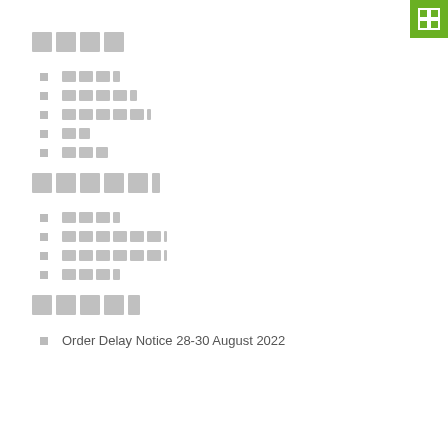[Figure (logo): Green square logo icon in top-right corner]
█████
████
██████
███████
██
███
███████
████
████████
████████
████
██████
Order Delay Notice 28-30 August 2022